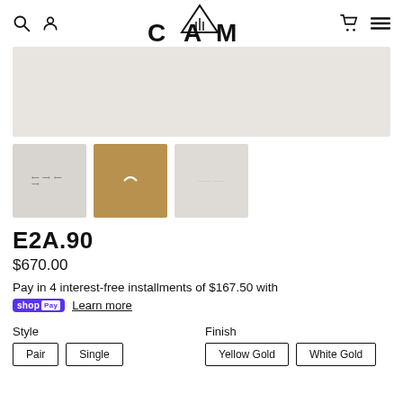CAM — navigation header with search, account, cart, and menu icons
[Figure (photo): Main product image showing earrings on light beige background]
[Figure (photo): Thumbnail 1: earrings on white background, text stamps visible]
[Figure (photo): Thumbnail 2: earrings on warm golden/brown background]
[Figure (photo): Thumbnail 3: earrings on light background]
E2A.90
$670.00
Pay in 4 interest-free installments of $167.50 with shop Pay  Learn more
Style
Finish
Pair
Single
Yellow Gold
White Gold